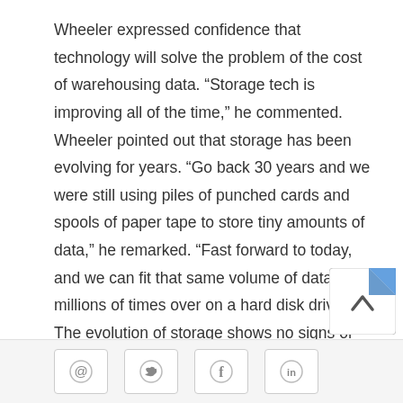Wheeler expressed confidence that technology will solve the problem of the cost of warehousing data. “Storage tech is improving all of the time,” he commented. Wheeler pointed out that storage has been evolving for years. “Go back 30 years and we were still using piles of punched cards and spools of paper tape to store tiny amounts of data,” he remarked. “Fast forward to today, and we can fit that same volume of data millions of times over on a hard disk drive.” The evolution of storage shows no signs of stopping, according to Wheeler. “As storage requirements go up, innovation will close the gap eventually, giving us more compact ways to store ever increasing volumes of data,” he concluded.
[Figure (other): Back-to-top button with blue folded corner and upward chevron arrow, and a small 'rms' label below it]
Social share buttons: email, Twitter, Facebook, LinkedIn